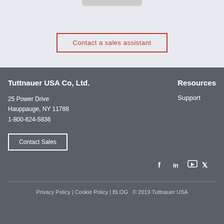[Figure (other): Partial view of a device/laptop at top of page]
Contact a sales assistant
Tuttnauer USA Co, Ltd.
Resources
25 Power Drive
Hauppauge, NY 11788
1-800-624-5836
Support
Contact Sales
[Figure (other): Social media icons: Facebook, LinkedIn, YouTube, Twitter]
Privacy Policy | Cookie Policy | BLOG  © 2019 Tuttnauer USA